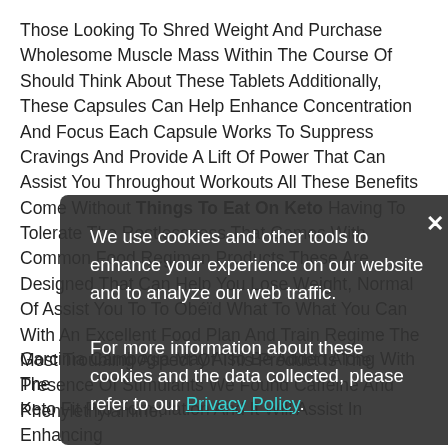Those Looking To Shred Weight And Purchase Wholesome Muscle Mass Within The Course Of Should Think About These Tablets Additionally, These Capsules Can Help Enhance Concentration And Focus Each Capsule Works To Suppress Cravings And Provide A Lift Of Power That Can Assist You Throughout Workouts All These Benefits Come Without Things To Eat On Keto Having To Tolerate The Restlessness That Comes With Common Food Regimen Products These Are Designed That Can Help You Lose Weight, Normal Of Assist You To To Obéïd What To What You Can With An Excellent Food Plan And Train Regime The Most Troubling Aspect Of This Product Is The Presence Of Stimulants We Found Caffeine And Phenylethylamine.
[Figure (other): Cookie consent overlay popup with dark background. Text reads: 'We use cookies and other tools to enhance your experience on our website and to analyze our web traffic. For more information about these cookies and the data collected, please refer to our Privacy Policy.' with a close (×) button.]
Garcinia Cambogia May Also Be Added Along With The Keto Fit Pro Formulation And It Will Assist In Enhancing...